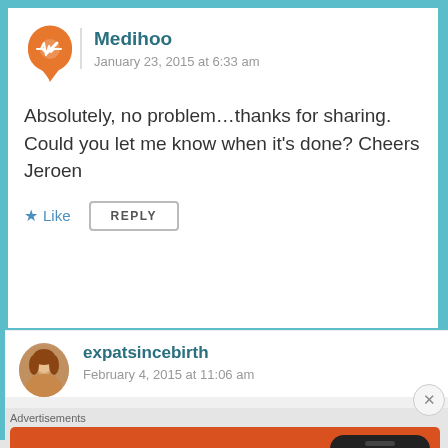Medihoo
January 23, 2015 at 6:33 am
Absolutely, no problem…thanks for sharing. Could you let me know when it's done? Cheers Jeroen
★ Like
REPLY
expatsincebirth
February 4, 2015 at 11:06 am
Advertisements
[Figure (screenshot): DuckDuckGo advertisement banner: Search, browse, and email with more privacy. All in One Free App. Shows phone with DuckDuckGo logo.]